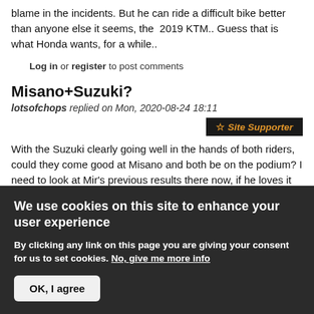blame in the incidents. But he can ride a difficult bike better than anyone else it seems, the 2019 KTM.. Guess that is what Honda wants, for a while..
Log in or register to post comments
Misano+Suzuki?
lotsofchops replied on Mon, 2020-08-24 18:11
☆ Site Supporter
With the Suzuki clearly going well in the hands of both riders, could they come good at Misano and both be on the podium? I need to look at Mir's previous results there now, if he loves it as much as Austria... could be
We use cookies on this site to enhance your user experience
By clicking any link on this page you are giving your consent for us to set cookies. No, give me more info
OK, I agree